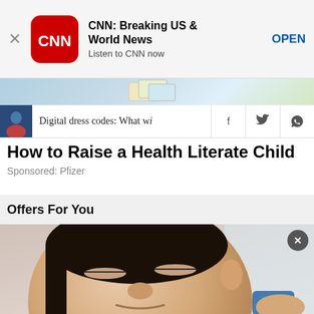[Figure (screenshot): App store banner ad for CNN: Breaking US & World News with CNN red rounded-square logo, close X button, app name, tagline 'Listen to CNN now', and OPEN button]
[Figure (photo): Partial image strip showing pastel-colored documents or mail]
[Figure (screenshot): Navigation bar with small person photo thumbnail, partial article headline 'Digital dress codes: What wi', and social share icons for Facebook, Twitter, and WhatsApp]
How to Raise a Health Literate Child
Sponsored: Pfizer
Offers For You
[Figure (photo): Close-up photo of an Asian woman's face squinting/frowning, holding a small blue object, with a close X button overlay in top right]